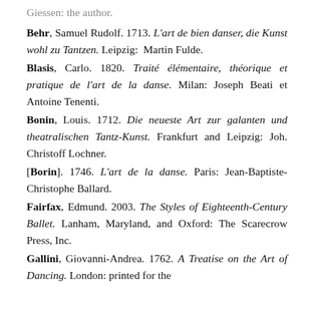Giessen: the author.
Behr, Samuel Rudolf. 1713. L'art de bien danser, die Kunst wohl zu Tantzen. Leipzig: Martin Fulde.
Blasis, Carlo. 1820. Traité élémentaire, théorique et pratique de l'art de la danse. Milan: Joseph Beati et Antoine Tenenti.
Bonin, Louis. 1712. Die neueste Art zur galanten und theatralischen Tantz-Kunst. Frankfurt and Leipzig: Joh. Christoff Lochner.
[Borin]. 1746. L'art de la danse. Paris: Jean-Baptiste-Christophe Ballard.
Fairfax, Edmund. 2003. The Styles of Eighteenth-Century Ballet. Lanham, Maryland, and Oxford: The Scarecrow Press, Inc.
Gallini, Giovanni-Andrea. 1762. A Treatise on the Art of Dancing. London: printed for the